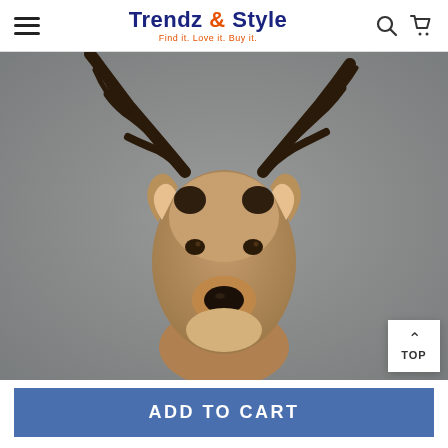Trendz & Style — Find it. Love it. Buy it.
[Figure (photo): A deer/stag head mount taxidermy photographed from below against a gray concrete wall background, showing large dark antlers and a tan-colored face.]
TOP